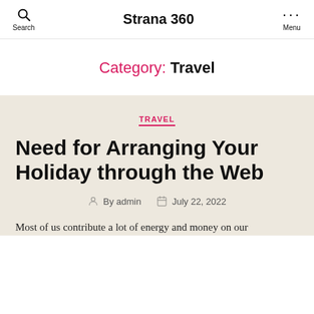Strana 360
Category: Travel
TRAVEL
Need for Arranging Your Holiday through the Web
By admin  July 22, 2022
Most of us contribute a lot of energy and money on our